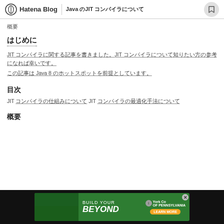Hatena Blog | Java のJIT コンパイラについて
概要
はじめに
JIT コンパイラに関する記事を書きました。JIT コンパイラについて知りたい方の参考になれば幸いです。
この記事は Java 8 のホットスポットを前提としています。
目次
JIT コンパイラの仕組みについて JIT コンパイラの最適化手法について
概要
[Figure (photo): Advertisement banner: BUILD YOUR BEYOND - York College of Pennsylvania. Shows two students studying. Green background with orange Learn More button.]